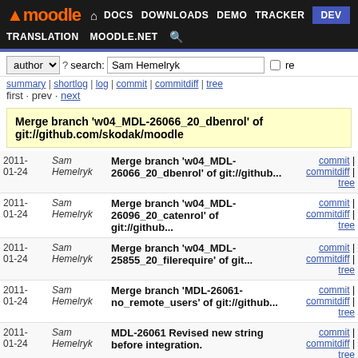moodle | DOCS | DOWNLOADS | DEMO | TRACKER | DEV | TRANSLATION | MOODLE.NET
author search: Sam Hemelryk re
summary | shortlog | log | commit | commitdiff | tree
first · prev · next
Merge branch 'w04_MDL-26066_20_dbenrol' of git://github.com/skodak/moodle
| Date | Author | Commit Message | Links |
| --- | --- | --- | --- |
| 2011-01-24 | Sam Hemelryk | Merge branch 'w04_MDL-26066_20_dbenrol' of git://github... | commit | commitdiff | tree |
| 2011-01-24 | Sam Hemelryk | Merge branch 'w04_MDL-26096_20_catenrol' of git://github... | commit | commitdiff | tree |
| 2011-01-24 | Sam Hemelryk | Merge branch 'w04_MDL-25855_20_filerequire' of git... | commit | commitdiff | tree |
| 2011-01-24 | Sam Hemelryk | Merge branch 'MDL-26061-no_remote_users' of git://github... | commit | commitdiff | tree |
| 2011-01-24 | Sam Hemelryk | MDL-26061 Revised new string before integration. | commit | commitdiff | tree |
| 2011-01-24 | Sam Hemelryk | Merge branch 'w04_MDL-26008_20_creator' of git://github... | commit | commitdiff | tree |
| 2011-01-24 | Sam Hemelryk | Merge branch 'w04_MDL-26106_20_lebletypo' of git:/... | commit | commitdiff | tree |
| 2011-01-24 | Sam Hemelryk | Merge branch 'w04_MDL-... | commit | commitdiff | tree |